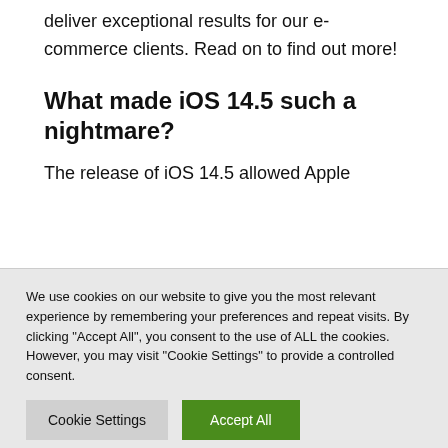deliver exceptional results for our e-commerce clients. Read on to find out more!
What made iOS 14.5 such a nightmare?
The release of iOS 14.5 allowed Apple
We use cookies on our website to give you the most relevant experience by remembering your preferences and repeat visits. By clicking "Accept All", you consent to the use of ALL the cookies. However, you may visit "Cookie Settings" to provide a controlled consent.
Cookie Settings
Accept All